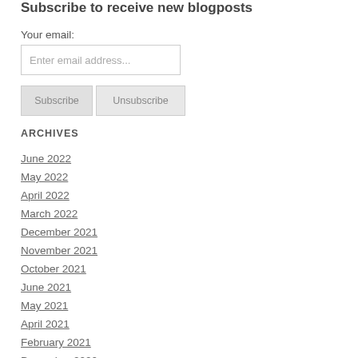Subscribe to receive new blogposts
Your email:
Enter email address...
Subscribe
Unsubscribe
ARCHIVES
June 2022
May 2022
April 2022
March 2022
December 2021
November 2021
October 2021
June 2021
May 2021
April 2021
February 2021
December 2020
November 2020